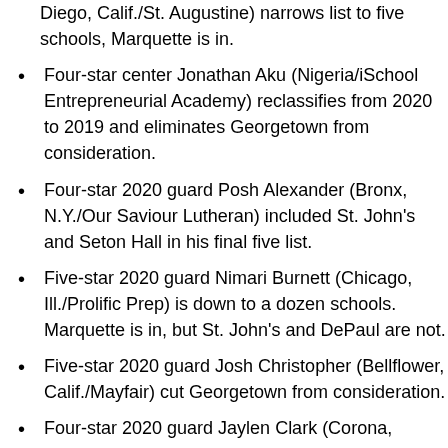Diego, Calif./St. Augustine) narrows list to five schools, Marquette is in.
Four-star center Jonathan Aku (Nigeria/iSchool Entrepreneurial Academy) reclassifies from 2020 to 2019 and eliminates Georgetown from consideration.
Four-star 2020 guard Posh Alexander (Bronx, N.Y./Our Saviour Lutheran) included St. John's and Seton Hall in his final five list.
Five-star 2020 guard Nimari Burnett (Chicago, Ill./Prolific Prep) is down to a dozen schools. Marquette is in, but St. John's and DePaul are not.
Five-star 2020 guard Josh Christopher (Bellflower, Calif./Mayfair) cut Georgetown from consideration.
Four-star 2020 guard Jaylen Clark (Corona,